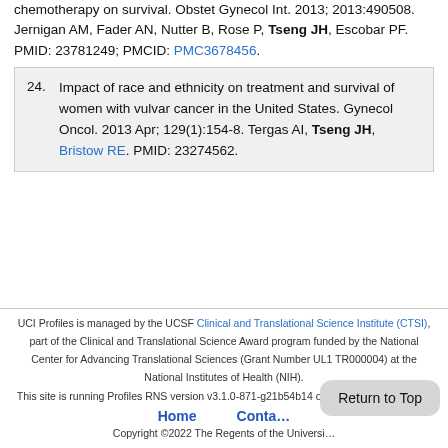chemotherapy on survival. Obstet Gynecol Int. 2013; 2013:490508. Jernigan AM, Fader AN, Nutter B, Rose P, Tseng JH, Escobar PF. PMID: 23781249; PMCID: PMC3678456.
24. Impact of race and ethnicity on treatment and survival of women with vulvar cancer in the United States. Gynecol Oncol. 2013 Apr; 129(1):154-8. Tergas AI, Tseng JH, Bristow RE. PMID: 23274562.
UCI Profiles is managed by the UCSF Clinical and Translational Science Institute (CTSI), part of the Clinical and Translational Science Award program funded by the National Center for Advancing Translational Sciences (Grant Number UL1 TR000004) at the National Institutes of Health (NIH). This site is running Profiles RNS version v3.1.0-871-g21b54b14 on PROFILES-PWEB02. Home Contact Copyright ©2022 The Regents of the University